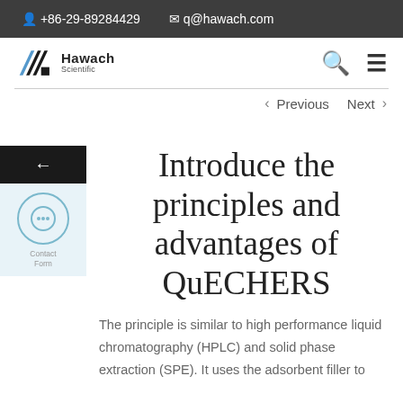+86-29-89284429   q@hawach.com
[Figure (logo): Hawach Scientific logo with diagonal stripe mark and text]
< Previous   Next >
Introduce the principles and advantages of QuECHERS
The principle is similar to high performance liquid chromatography (HPLC) and solid phase extraction (SPE). It uses the adsorbent filler to